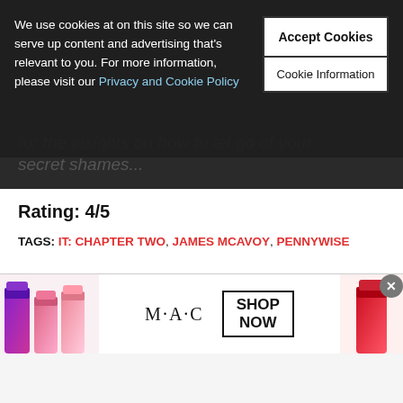We use cookies at on this site so we can serve up content and advertising that's relevant to you. For more information, please visit our Privacy and Cookie Policy
Accept Cookies
Cookie Information
for the insights on how to let go of your secret shames...
Rating: 4/5
TAGS: IT: CHAPTER TWO, JAMES MCAVOY, PENNYWISE
RECENT POSTS
[Figure (photo): Movie promotional image showing two characters in colorful superhero-style scene]
[Figure (photo): MAC cosmetics advertisement showing lipsticks with SHOP NOW call to action]